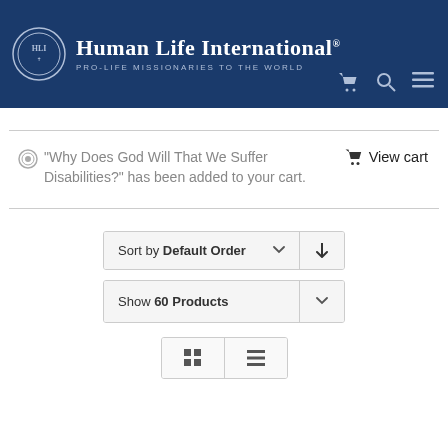[Figure (logo): Human Life International logo with circular emblem and text: Human Life International PRO-LIFE MISSIONARIES TO THE WORLD, with cart, search, and menu icons]
“Why Does God Will That We Suffer Disabilities?” has been added to your cart.
View cart
Sort by Default Order
Show 60 Products